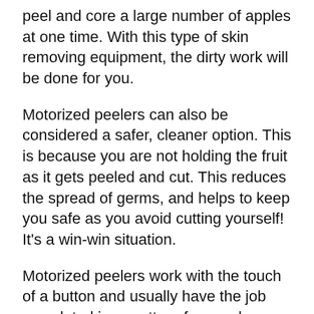peel and core a large number of apples at one time. With this type of skin removing equipment, the dirty work will be done for you.
Motorized peelers can also be considered a safer, cleaner option. This is because you are not holding the fruit as it gets peeled and cut. This reduces the spread of germs, and helps to keep you safe as you avoid cutting yourself! It's a win-win situation.
Motorized peelers work with the touch of a button and usually have the job completed in a matter of seconds. While it sounds impressive—and most of these gadgets are pretty neat—some drawbacks can come along for the ride.